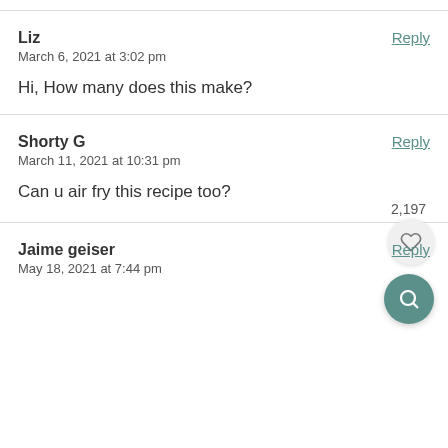Liz
March 6, 2021 at 3:02 pm
Hi, How many does this make?
Shorty G
March 11, 2021 at 10:31 pm
Can u air fry this recipe too?
Jaime geiser
May 18, 2021 at 7:44 pm